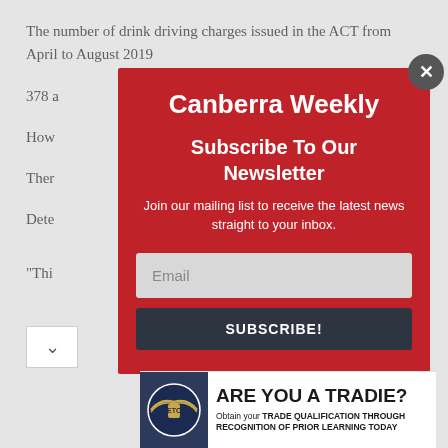The number of drink driving charges issued in the ACT from April to August 2019 ...
378 a...
How... to August...
Ther... ust in 20... .
Dete... ce-led a...
“This...
[Figure (screenshot): Canberra Weekly newsletter subscription modal overlay with red background, logo, subscribe title, email input, and subscribe button]
[Figure (infographic): ARE YOU A TRADIE? advertisement banner at bottom of page with ETC logo and text about trade qualification through recognition of prior learning]